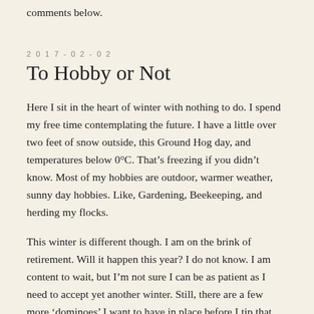comments below.
2017-02-02
To Hobby or Not
Here I sit in the heart of winter with nothing to do. I spend my free time contemplating the future. I have a little over two feet of snow outside, this Ground Hog day, and temperatures below 0°C. That's freezing if you didn't know. Most of my hobbies are outdoor, warmer weather, sunny day hobbies. Like, Gardening, Beekeeping, and herding my flocks.
This winter is different though. I am on the brink of retirement. Will it happen this year? I do not know. I am content to wait, but I'm not sure I can be as patient as I need to accept yet another winter. Still, there are a few more 'dominoes' I want to have in place before I tip that